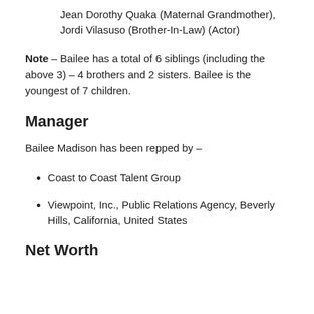Jean Dorothy Quaka (Maternal Grandmother), Jordi Vilasuso (Brother-In-Law) (Actor)
Note – Bailee has a total of 6 siblings (including the above 3) – 4 brothers and 2 sisters. Bailee is the youngest of 7 children.
Manager
Bailee Madison has been repped by –
Coast to Coast Talent Group
Viewpoint, Inc., Public Relations Agency, Beverly Hills, California, United States
Net Worth